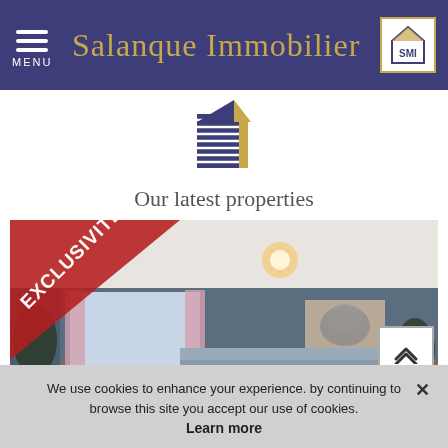MENU  Salanque Immobilier
[Figure (logo): Salanque Immobilier logo — stylized house with navy stripes and gold elements]
Our latest properties
[Figure (photo): Interior room photo of a property with 'EXCLUSIVITE' red banner in top-left corner. Shows a living room with blue-grey walls, white ceiling, window with pink curtains, elephant artwork, sofa.]
We use cookies to enhance your experience. by continuing to browse this site you accept our use of cookies.
Learn more